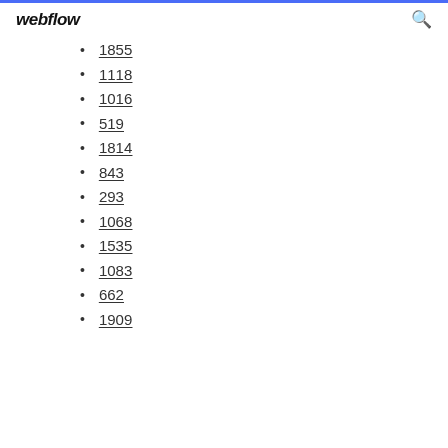webflow
1855
1118
1016
519
1814
843
293
1068
1535
1083
662
1909